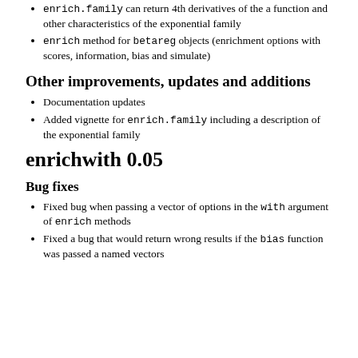enrich.family can return 4th derivatives of the a function and other characteristics of the exponential family
enrich method for betareg objects (enrichment options with scores, information, bias and simulate)
Other improvements, updates and additions
Documentation updates
Added vignette for enrich.family including a description of the exponential family
enrichwith 0.05
Bug fixes
Fixed bug when passing a vector of options in the with argument of enrich methods
Fixed a bug that would return wrong results if the bias function was passed a named vectors